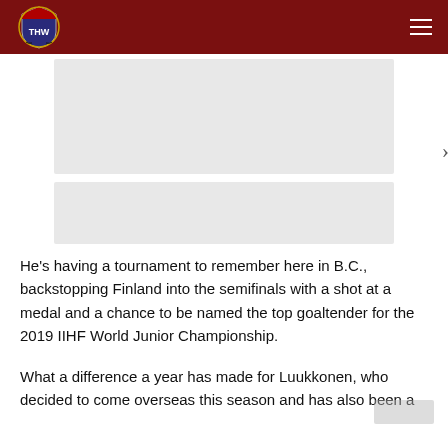THW Hockey Writers logo and navigation
[Figure (other): Image carousel placeholder with two grey image panels and left/right navigation arrows]
He's having a tournament to remember here in B.C., backstopping Finland into the semifinals with a shot at a medal and a chance to be named the top goaltender for the 2019 IIHF World Junior Championship.
What a difference a year has made for Luukkonen, who decided to come overseas this season and has also been a